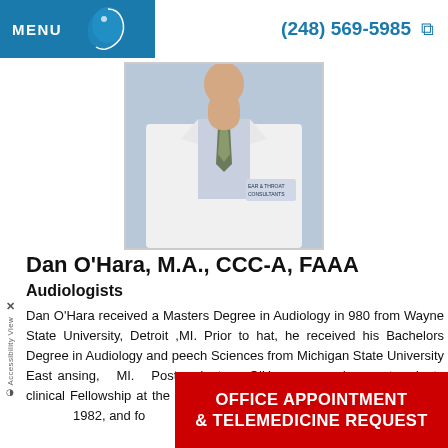MENU  (248) 569-5985
[Figure (photo): Doctor in white lab coat with tie, wearing an Ear & Throat Consultants badge]
Dan O'Hara, M.A., CCC-A, FAAA
Audiologists
Dan O'Hara received a Masters Degree in Audiology in 980 from Wayne State University, Detroit ,MI. Prior to that, he received his Bachelors Degree in Audiology and Speech Sciences from Michigan State University East Lansing, MI. Postgraduate, O'Hara served a postgraduate clinical Fellowship at the University of Oregon at E... 1982, and fo...
OFFICE APPOINTMENT & TELEMEDICINE REQUEST